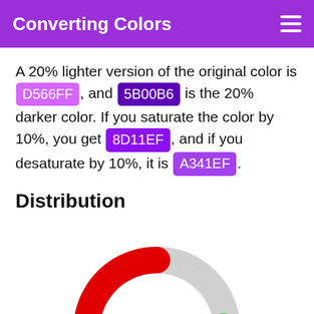Converting Colors
A 20% lighter version of the original color is D566FF, and 5B00B6 is the 20% darker color. If you saturate the color by 10%, you get 8D11EF, and if you desaturate by 10%, it is A341EF.
Distribution
[Figure (donut-chart): Donut/ring chart showing RGB color distribution with red, blue, and green segments on a gray ring background. Center label reads RGB with small color swatches.]